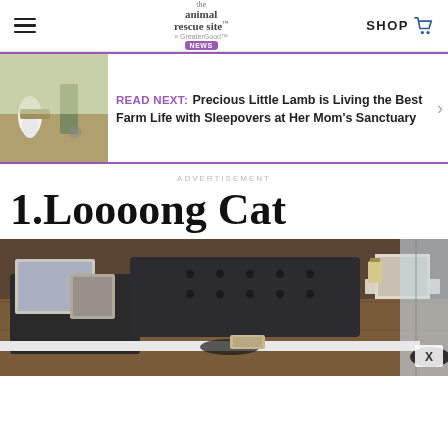the animal rescue site — SHOP
READ NEXT: Precious Little Lamb is Living the Best Farm Life with Sleepovers at Her Mom's Sanctuary
ADVERTISEMENT
1.Loooong Cat
[Figure (photo): Living room interior photo showing a dark tufted ottoman/bench on a wooden floor, with side tables, decorative items, and natural light from windows. A close-up X button visible at bottom right.]